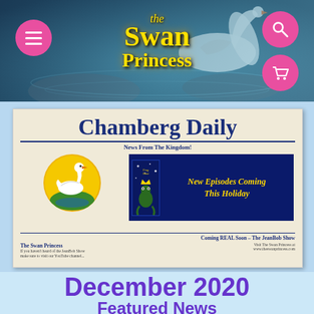[Figure (screenshot): Swan Princess website header banner with swan and water background, pink circle menu button on left, pink circle search and cart buttons on right, golden 'the Swan Princess' logo text in center]
[Figure (screenshot): Chamberg Daily newspaper image on light blue background, showing 'Chamberg Daily' masthead, 'News From The Kingdom!' tagline, swan logo circle, dark blue banner saying 'New Episodes Coming This Holiday', 'Coming REAL Soon – The JeanBob Show' headline, 'The Swan Princess' text]
December 2020
Featured News